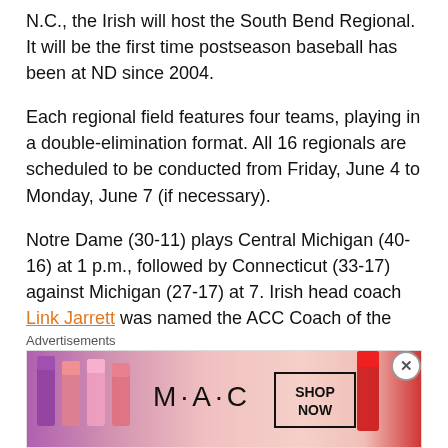N.C., the Irish will host the South Bend Regional. It will be the first time postseason baseball has been at ND since 2004.
Each regional field features four teams, playing in a double-elimination format. All 16 regionals are scheduled to be conducted from Friday, June 4 to Monday, June 7 (if necessary).
Notre Dame (30-11) plays Central Michigan (40-16) at 1 p.m., followed by Connecticut (33-17) against Michigan (27-17) at 7. Irish head coach Link Jarrett was named the ACC Coach of the Year.
Indiana State went 3-2 at the Missouri Valley Conference tournament in Carbondale, Ill. — beating Illinois State 5-2 and Southern Illinois 11-8, losing to Dallas Baptist 10-1, heating
Advertisements
[Figure (other): MAC cosmetics advertisement showing lipstick products with 'M·A·C' logo and 'SHOP NOW' button]